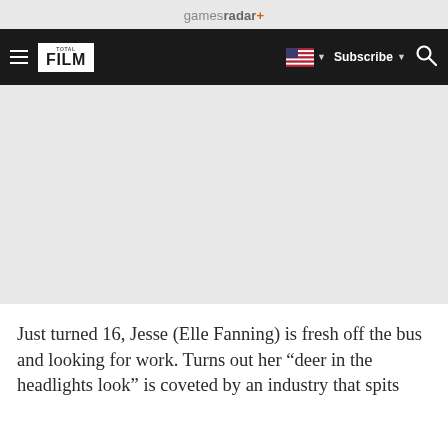gamesradar+
[Figure (logo): Total Film logo on dark navigation bar with hamburger menu, US flag dropdown, Subscribe button, and search icon]
[Figure (photo): Large grey advertisement/image placeholder area]
Just turned 16, Jesse (Elle Fanning) is fresh off the bus and looking for work. Turns out her “deer in the headlights look” is coveted by an industry that spits